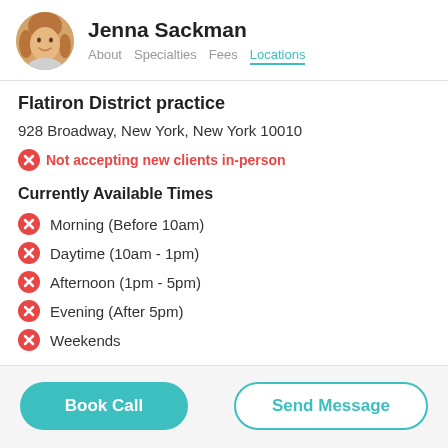Jenna Sackman — About  Specialties  Fees  Locations
Flatiron District practice
928 Broadway, New York, New York 10010
Not accepting new clients in-person
Currently Available Times
Morning (Before 10am)
Daytime (10am - 1pm)
Afternoon (1pm - 5pm)
Evening (After 5pm)
Weekends
Book Call
Send Message